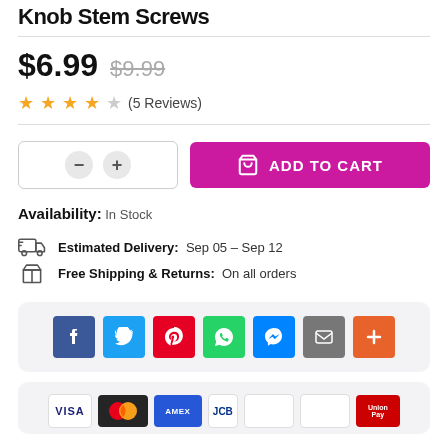Knob Stem Screws
$6.99  $9.99
★★★★☆ (5 Reviews)
Availability: In Stock
Estimated Delivery: Sep 05 – Sep 12
Free Shipping & Returns: On all orders
[Figure (other): Social share buttons: Facebook, Twitter, Pinterest, WhatsApp, Messenger, Email, More]
[Figure (other): Payment method icons: Visa, Mastercard, American Express, JCB, unknown, unknown, UnionPay]